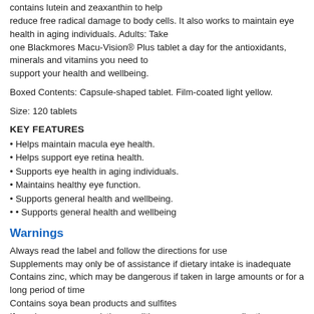contains lutein and zeaxanthin to help reduce free radical damage to body cells. It also works to maintain eye health in aging individuals. Adults: Take one Blackmores Macu-Vision® Plus tablet a day for the antioxidants, minerals and vitamins you need to support your health and wellbeing.
Boxed Contents: Capsule-shaped tablet. Film-coated light yellow.
Size: 120 tablets
KEY FEATURES
• Helps maintain macula eye health.
• Helps support eye retina health.
• Supports eye health in aging individuals.
• Maintains healthy eye function.
• Supports general health and wellbeing.
• • Supports general health and wellbeing
Warnings
Always read the label and follow the directions for use
Supplements may only be of assistance if dietary intake is inadequate
Contains zinc, which may be dangerous if taken in large amounts or for a long period of time
Contains soya bean products and sulfites
If you have any pre-existing conditions, or are on any medications always talk to your health professional before use
If you are pregnant or breastfeeding, talk to your health professional